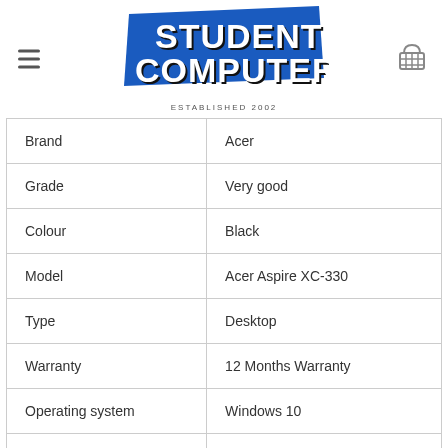[Figure (logo): Student Computers logo — blue angled banner with bold white text 'STUDENT COMPUTERS' with black drop shadow, and 'ESTABLISHED 2002' subtitle below]
| Attribute | Value |
| --- | --- |
| Brand | Acer |
| Grade | Very good |
| Colour | Black |
| Model | Acer Aspire XC-330 |
| Type | Desktop |
| Warranty | 12 Months Warranty |
| Operating system | Windows 10 |
| Storage | 1TB |